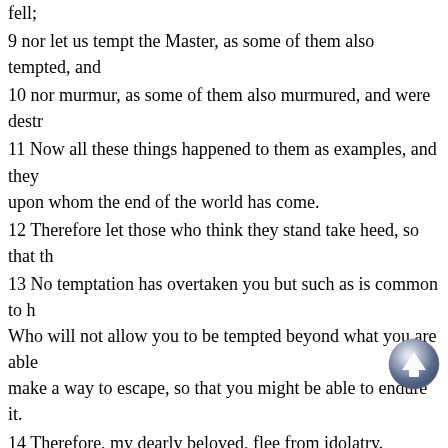fell;
9 nor let us tempt the Master, as some of them also tempted, and
10 nor murmur, as some of them also murmured, and were destr
11 Now all these things happened to them as examples, and they upon whom the end of the world has come.
12 Therefore let those who think they stand take heed, so that th
13 No temptation has overtaken you but such as is common to h Who will not allow you to be tempted beyond what you are able make a way to escape, so that you might be able to endure it.
14 Therefore, my dearly beloved, flee from idolatry.
15 I speak as to those who are wise; you judge what I say.
16 The cup of blessing which we bless, is it not the communion which we break, is it not the communion of the body of Messiah
17 For we, being many, are one bread, and one body; for we are
18 Behold Israel after the flesh; are they not those who eat of th
19 What do I mean then? That the idol is anything, or that which anything?
20 But that the things which the Gentiles sacrifice, they sacrific